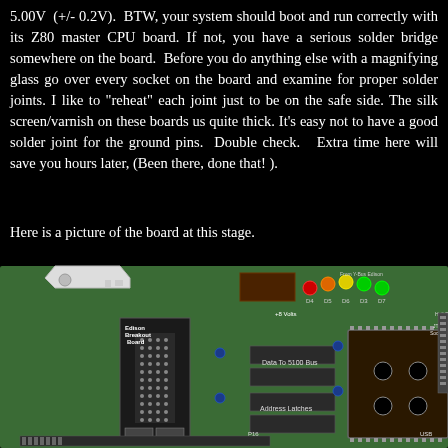5.00V (+/- 0.2V). BTW, your system should boot and run correctly with its Z80 master CPU board. If not, you have a serious solder bridge somewhere on the board. Before you do anything else with a magnifying glass go over every socket on the board and examine for proper solder joints. I like to "reheat" each joint just to be on the safe side. The silk screen/varnish on these boards us quite thick. It's easy not to have a good solder joint for the ground pins. Double check. Extra time here will save you hours later, (Been there, done that! ).
Here is a picture of the board at this stage.
[Figure (photo): Photo of a green circuit board (Z80 CPU board) with various ICs, sockets, LEDs, connectors, and labels including 'Edison Breakout Board', 'Data To 5100 Bus', 'Address Latches', 'Halt Button', 'JTAG Socket', 'P16', 'USB', and other component markings. A white plastic key/dongle is visible in the upper left corner of the board.]